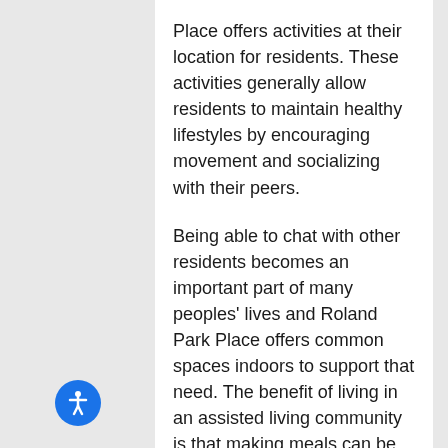Place offers activities at their location for residents. These activities generally allow residents to maintain healthy lifestyles by encouraging movement and socializing with their peers.
Being able to chat with other residents becomes an important part of many peoples' lives and Roland Park Place offers common spaces indoors to support that need. The benefit of living in an assisted living community is that making meals can be costly and time consuming process so Roland Park Place provides meals for residents.
Staff is awake and available 24 hours a day so if any emergencies occur no matter the time, there will be someone